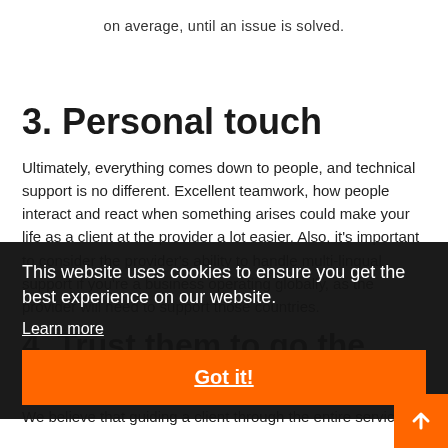on average, until an issue is solved.
3. Personal touch
Ultimately, everything comes down to people, and technical support is no different. Excellent teamwork, how people interact and react when something arises could make your life as a client at the provider a lot easier. Also, it's important to consider the provider's ability to handle multi-lingual support if you're a business operating globally, as the provider will need to support those countries.
4. Trust them to go the distance
We believe that guiding a client through the entire service
This website uses cookies to ensure you get the best experience on our website.
Learn more
Got it!